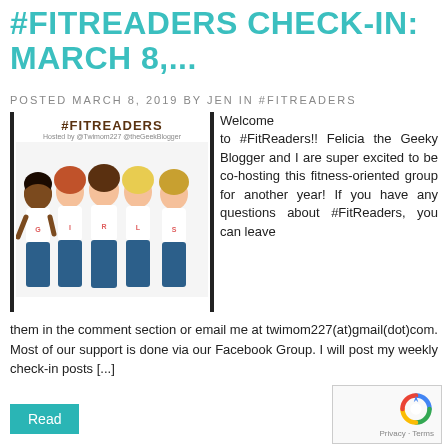#FITREADERS CHECK-IN: MARCH 8,...
POSTED MARCH 8, 2019 BY JEN IN #FITREADERS
[Figure (illustration): Cartoon illustration of five diverse women wearing white 'GIRLS' t-shirts and jeans, with text '#FITREADERS Hosted by @Twimom227 @theGeekBlogger' at the top]
Welcome to #FitReaders!! Felicia the Geeky Blogger and I are super excited to be co-hosting this fitness-oriented group for another year! If you have any questions about #FitReaders, you can leave them in the comment section or email me at twimom227(at)gmail(dot)com. Most of our support is done via our Facebook Group. I will post my weekly check-in posts [...]